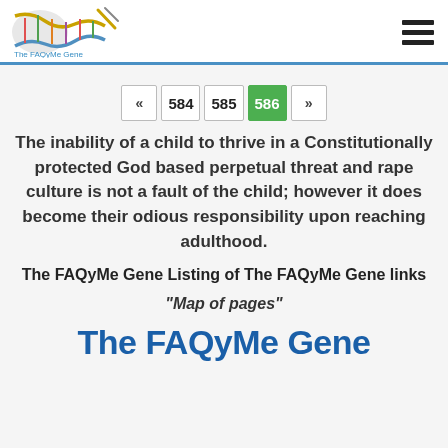The FAQyMe Gene
« 584 585 586 »
The inability of a child to thrive in a Constitutionally protected God based perpetual threat and rape culture is not a fault of the child; however it does become their odious responsibility upon reaching adulthood.
The FAQyMe Gene Listing of The FAQyMe Gene links
"Map of pages"
The FAQyMe Gene